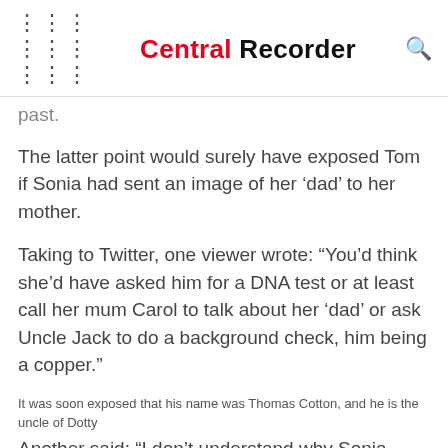Central Recorder
past.
The latter point would surely have exposed Tom if Sonia had sent an image of her ‘dad’ to her mother.
Taking to Twitter, one viewer wrote: “You’d think she’d have asked him for a DNA test or at least call her mum Carol to talk about her ‘dad’ or ask Uncle Jack to do a background check, him being a copper.”
It was soon exposed that his name was Thomas Cotton, and he is the uncle of Dotty
Another said: “I don’t understand why Sonia wouldn’t have mentioned that her bio-dad had shown up to her mum and she wouldn’t be like ’er no